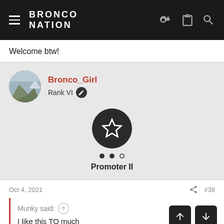BRONCO NATION
Welcome btw!
Bronco_Girl
Rank VI
Promoter II
Oct 4, 2021
#38
Munky said:
I like this TO much